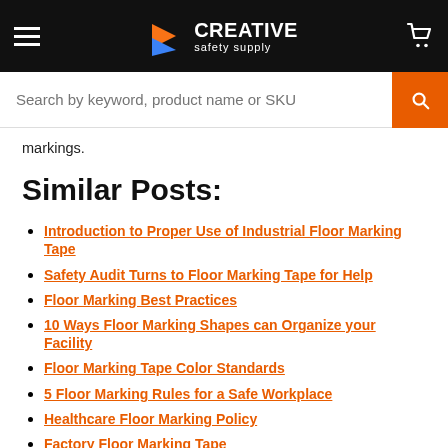Creative Safety Supply
markings.
Similar Posts:
Introduction to Proper Use of Industrial Floor Marking Tape
Safety Audit Turns to Floor Marking Tape for Help
Floor Marking Best Practices
10 Ways Floor Marking Shapes can Organize your Facility
Floor Marking Tape Color Standards
5 Floor Marking Rules for a Safe Workplace
Healthcare Floor Marking Policy
Factory Floor Marking Tape
The Power of Color Coding: Floor Marking